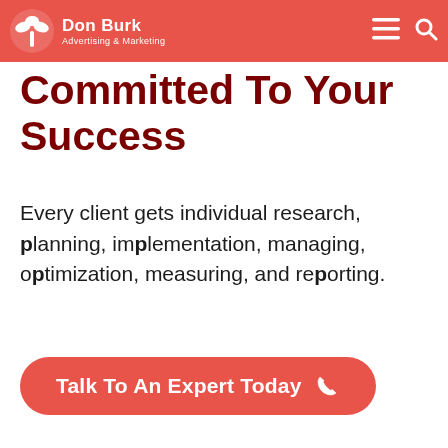Don Burk Advertising & Marketing
Committed To Your Success
Every client gets individual research, planning, implementation, managing, optimization, measuring, and reporting.
Talk To An Expert Today